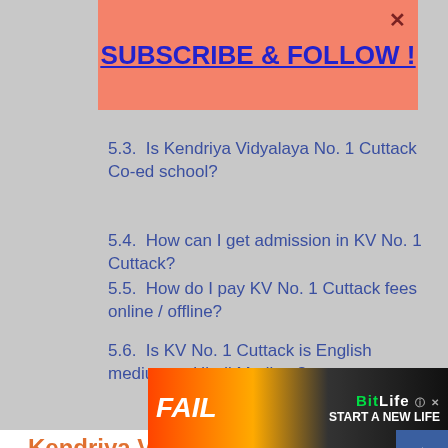[Figure (screenshot): Salmon/orange popup banner with text 'SUBSCRIBE & FOLLOW !' in bold blue underlined text, with an X close button in the top right corner]
5.3.  Is Kendriya Vidyalaya No. 1 Cuttack Co-ed school?
5.4.  How can I get admission in KV No. 1 Cuttack?
5.5.  How do I pay KV No. 1 Cuttack fees online / offline?
5.6.  Is KV No. 1 Cuttack is English medium or Hindi Medium?
Kendriya Vidyalaya No. 1 Cuttack at a Glance
Before discussing KV No. 1 C[X CLOSE]et us have an overview of the scho[ad banner]
[Figure (screenshot): BitLife advertisement banner at bottom with orange/yellow gradient and text 'START A NEW LIFE']